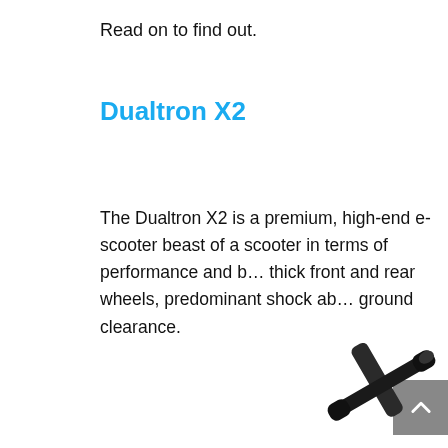Read on to find out.
Dualtron X2
The Dualtron X2 is a premium, high-end e-scooter beast of a scooter in terms of performance and b… thick front and rear wheels, predominant shock ab… ground clearance.
[Figure (photo): Partial view of a dark-colored electric scooter handlebar/stem visible at bottom-right corner of the page]